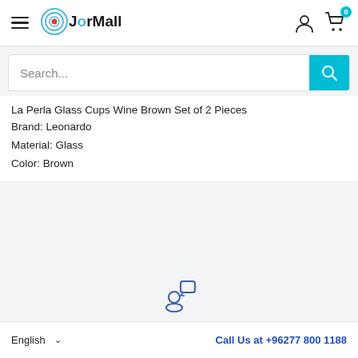[Figure (logo): JorMall logo with circular wave icon and hamburger menu icon]
[Figure (screenshot): Search bar with cyan search button icon]
La Perla Glass Cups Wine Brown Set of 2 Pieces
Brand: Leonardo
Material: Glass
Color: Brown
[Figure (illustration): Customer support / chat icon in blue outline style]
English ∨    Call Us at +96277 800 1188